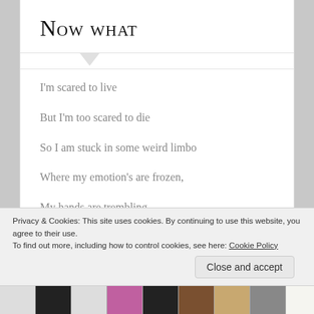Now what
I'm scared to live
But I'm too scared to die
So I am stuck in some weird limbo
Where my emotion's are frozen,
My hands are trembling,
And my eyes are closed.
Privacy & Cookies: This site uses cookies. By continuing to use this website, you agree to their use.
To find out more, including how to control cookies, see here: Cookie Policy
Close and accept